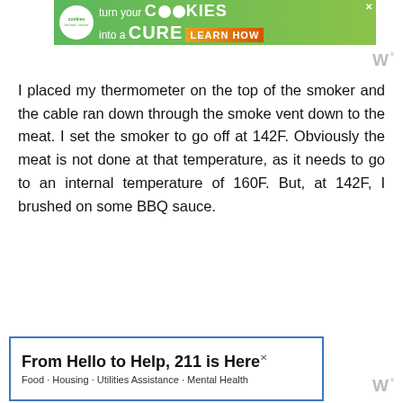[Figure (other): Green banner advertisement for Cookies for Kids Cancer: 'turn your COOKIES into a CURE LEARN HOW' with cookie logo]
I placed my thermometer on the top of the smoker and the cable ran down through the smoke vent down to the meat. I set the smoker to go off at 142F. Obviously the meat is not done at that temperature, as it needs to go to an internal temperature of 160F. But, at 142F, I brushed on some BBQ sauce.
[Figure (other): Blue-bordered advertisement: 'From Hello to Help, 211 is Here' with subtitle 'Food · Housing · Utilities Assistance · Mental Health']